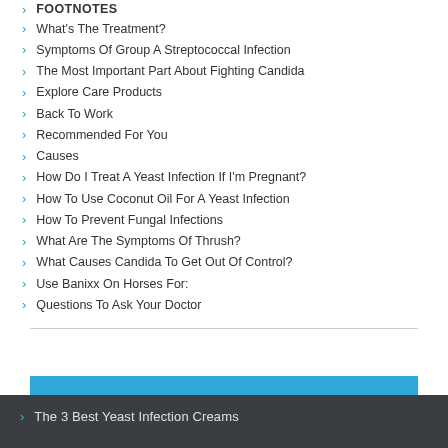FOOTNOTES
What's The Treatment?
Symptoms Of Group A Streptococcal Infection
The Most Important Part About Fighting Candida
Explore Care Products
Back To Work
Recommended For You
Causes
How Do I Treat A Yeast Infection If I'm Pregnant?
How To Use Coconut Oil For A Yeast Infection
How To Prevent Fungal Infections
What Are The Symptoms Of Thrush?
What Causes Candida To Get Out Of Control?
Use Banixx On Horses For:
Questions To Ask Your Doctor
The 3 Best Yeast Infection Creams